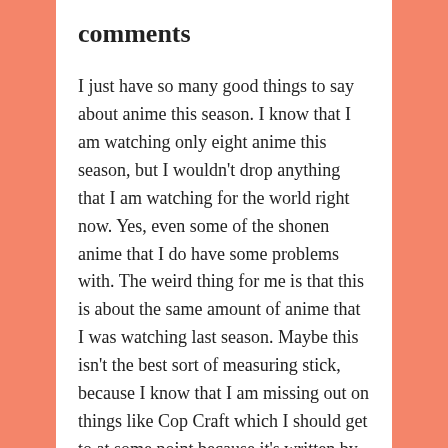comments
I just have so many good things to say about anime this season. I know that I am watching only eight anime this season, but I wouldn't drop anything that I am watching for the world right now. Yes, even some of the shonen anime that I do have some problems with. The weird thing for me is that this is about the same amount of anime that I was watching last season. Maybe this isn't the best sort of measuring stick, because I know that I am missing out on things like Cop Craft which I should get to at some point because it's written by the same guy who wrote Full Metal Panic, but I do think that this season is